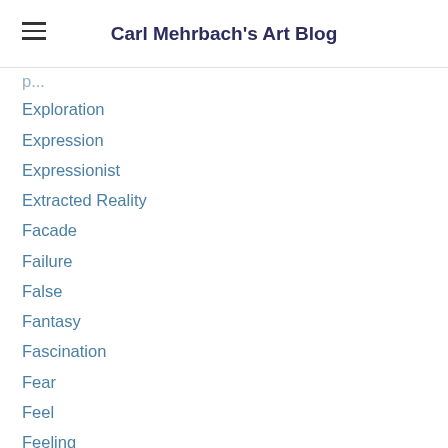Carl Mehrbach's Art Blog
Exploration
Expression
Expressionist
Extracted Reality
Facade
Failure
False
Fantasy
Fascination
Fear
Feel
Feeling
Fiction
Figurative
Figurative Mythology
Figure
Figures
Finality (partial)